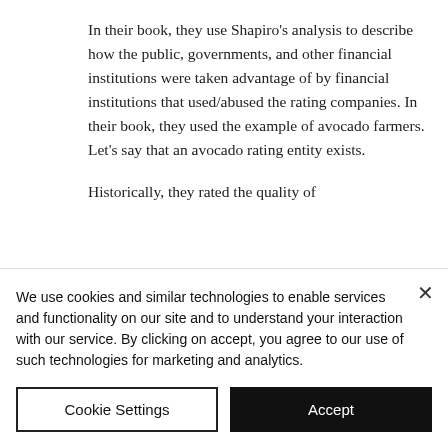In their book, they use Shapiro's analysis to describe how the public, governments, and other financial institutions were taken advantage of by financial institutions that used/abused the rating companies. In their book, they used the example of avocado farmers. Let's say that an avocado rating entity exists.
Historically, they rated the quality of
We use cookies and similar technologies to enable services and functionality on our site and to understand your interaction with our service. By clicking on accept, you agree to our use of such technologies for marketing and analytics.
Cookie Settings
Accept